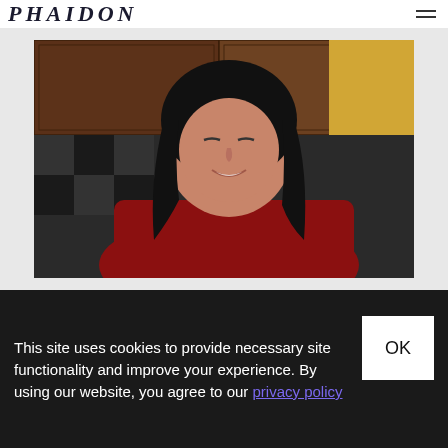PHAIDON
[Figure (photo): A woman with long black hair wearing a red top, smiling and looking downward, in a kitchen with dark wooden cabinets in the background.]
This site uses cookies to provide necessary site functionality and improve your experience. By using our website, you agree to our privacy policy